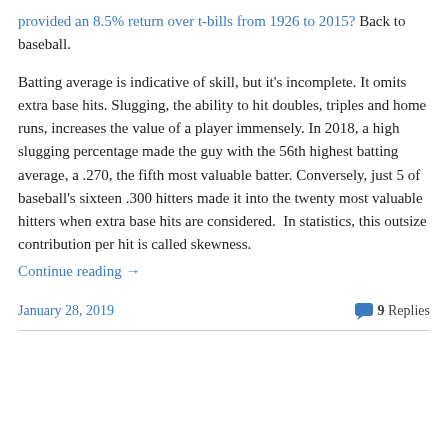provided an 8.5% return over t-bills from 1926 to 2015? Back to baseball.
Batting average is indicative of skill, but it's incomplete. It omits extra base hits. Slugging, the ability to hit doubles, triples and home runs, increases the value of a player immensely. In 2018, a high slugging percentage made the guy with the 56th highest batting average, a .270, the fifth most valuable batter. Conversely, just 5 of baseball's sixteen .300 hitters made it into the twenty most valuable hitters when extra base hits are considered.  In statistics, this outsize contribution per hit is called skewness.
Continue reading →
January 28, 2019   9 Replies